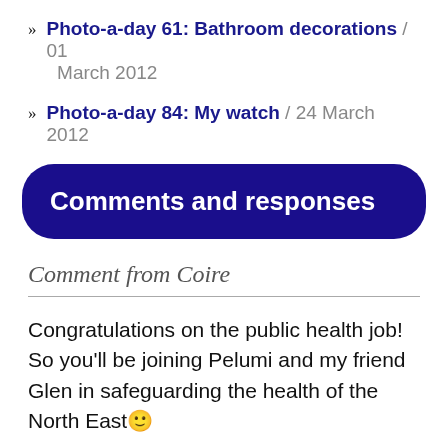» Photo-a-day 61: Bathroom decorations / 01 March 2012
» Photo-a-day 84: My watch / 24 March 2012
Comments and responses
Comment from Coire
Congratulations on the public health job! So you'll be joining Pelumi and my friend Glen in safeguarding the health of the North East... 🙂